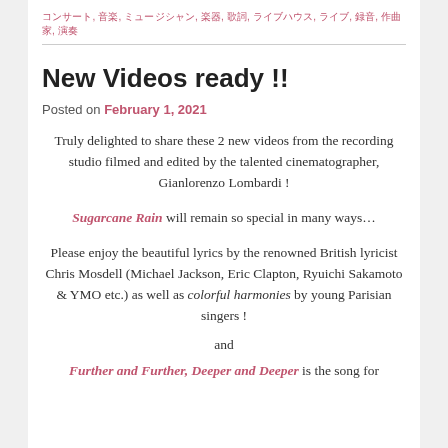コンサート, 音楽, ミュージシャン, 楽器, 歌詞, ライブハウス, ライブ, 録音, 作曲家, 演奏
New Videos ready !!
Posted on February 1, 2021
Truly delighted to share these 2 new videos from the recording studio filmed and edited by the talented cinematographer, Gianlorenzo Lombardi !
Sugarcane Rain will remain so special in many ways…
Please enjoy the beautiful lyrics by the renowned British lyricist Chris Mosdell (Michael Jackson, Eric Clapton, Ryuichi Sakamoto & YMO etc.) as well as colorful harmonies by young Parisian singers !
and
Further and Further, Deeper and Deeper is the song for